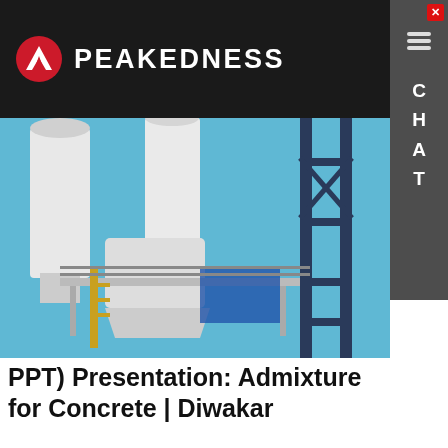PEAKEDNESS
[Figure (photo): Industrial concrete batching plant with white silos, metal scaffolding and blue sky background]
PPT) Presentation: Admixture for Concrete | Diwakar
Dispersant Shear Flocculated State Dispersed State f History of Concrete Admixtures • 1824 Production of Portland-Ceme…
Learn More
Hey, we are live 24/7. How may I help you?